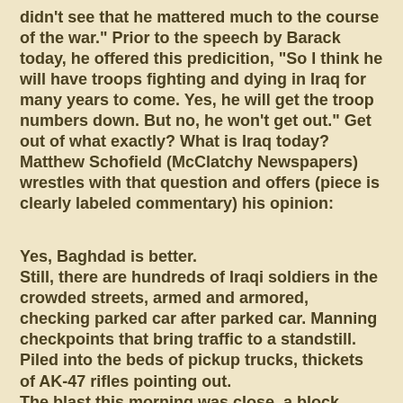didn't see that he mattered much to the course of the war." Prior to the speech by Barack today, he offered this predicition, "So I think he will have troops fighting and dying in Iraq for many years to come. Yes, he will get the troop numbers down. But no, he won't get out." Get out of what exactly? What is Iraq today? Matthew Schofield (McClatchy Newspapers) wrestles with that question and offers (piece is clearly labeled commentary) his opinion:
Yes, Baghdad is better.
Still, there are hundreds of Iraqi soldiers in the crowded streets, armed and armored, checking parked car after parked car. Manning checkpoints that bring traffic to a standstill. Piled into the beds of pickup trucks, thickets of AK-47 rifles pointing out.
The blast this morning was close, a block away. It was right around 7 a.m. I was asleep. A boom, the rattle of the windows, the slight contraction of the chest that comes when a blast is near. This used to be how I'd wake every morning here.